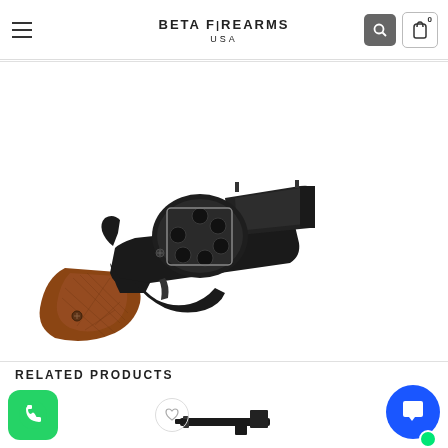BETA FIREARMS USA
[Figure (photo): Black snub-nose revolver with wood grip, shown on white background. The revolver has a brown checkered wooden grip and black metal frame, cylinder, and short barrel.]
RELATED PRODUCTS
[Figure (photo): WhatsApp app icon - green rounded square with white phone handset logo]
[Figure (photo): Blue circular chat/messenger button with white speech bubble icon and green notification dot]
[Figure (photo): Partial product thumbnail - appears to be a rifle/firearm silhouette at bottom of page]